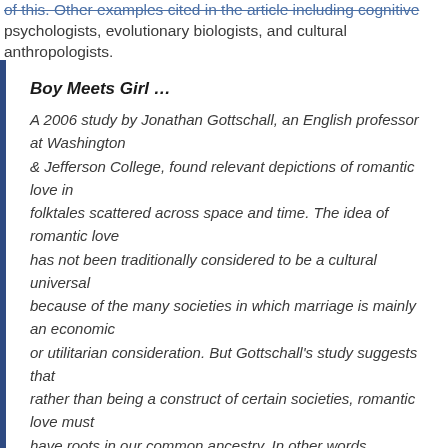of this. Other examples cited in the article including cognitive psychologists, evolutionary biologists, and cultural anthropologists.
Boy Meets Girl …
A 2006 study by Jonathan Gottschall, an English professor at Washington & Jefferson College, found relevant depictions of romantic love in folktales scattered across space and time. The idea of romantic love has not been traditionally considered to be a cultural universal because of the many societies in which marriage is mainly an economic or utilitarian consideration. But Gottschall's study suggests that rather than being a construct of certain societies, romantic love must have roots in our common ancestry. In other words, romance—not just